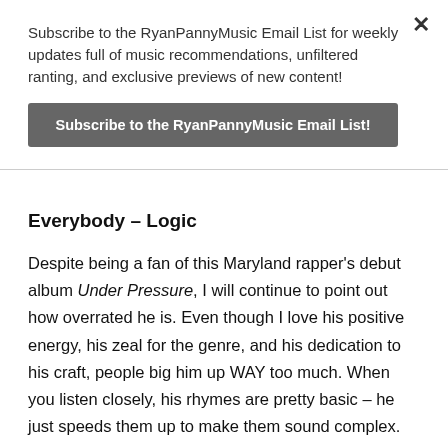Subscribe to the RyanPannyMusic Email List for weekly updates full of music recommendations, unfiltered ranting, and exclusive previews of new content!
Subscribe to the RyanPannyMusic Email List!
Everybody – Logic
Despite being a fan of this Maryland rapper's debut album Under Pressure, I will continue to point out how overrated he is. Even though I love his positive energy, his zeal for the genre, and his dedication to his craft, people big him up WAY too much. When you listen closely, his rhymes are pretty basic – he just speeds them up to make them sound complex. The opening scheme of this album is religion/prison/cracker/blacker. I don't